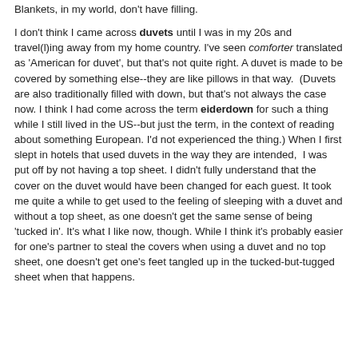Blankets, in my world, don't have filling.
I don't think I came across duvets until I was in my 20s and travel(l)ing away from my home country. I've seen comforter translated as 'American for duvet', but that's not quite right. A duvet is made to be covered by something else--they are like pillows in that way.  (Duvets are also traditionally filled with down, but that's not always the case now. I think I had come across the term eiderdown for such a thing while I still lived in the US--but just the term, in the context of reading about something European. I'd not experienced the thing.) When I first slept in hotels that used duvets in the way they are intended,  I was put off by not having a top sheet. I didn't fully understand that the cover on the duvet would have been changed for each guest. It took me quite a while to get used to the feeling of sleeping with a duvet and without a top sheet, as one doesn't get the same sense of being 'tucked in'. It's what I like now, though. While I think it's probably easier for one's partner to steal the covers when using a duvet and no top sheet, one doesn't get one's feet tangled up in the tucked-but-tugged sheet when that happens.